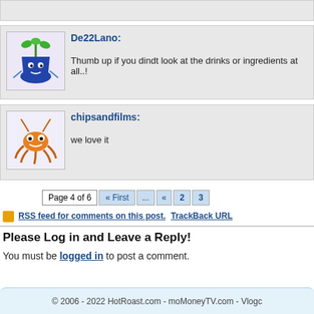De22Lano: Thumb up if you dindt look at the drinks or ingredients at all..!
chipsandfilms: we love it
Page 4 of 6  « First  ...  «  2  3
RSS feed for comments on this post. TrackBack URL
Please Log in and Leave a Reply!
You must be logged in to post a comment.
© 2006 - 2022 HotRoast.com - moMoneyTV.com - Vlogc